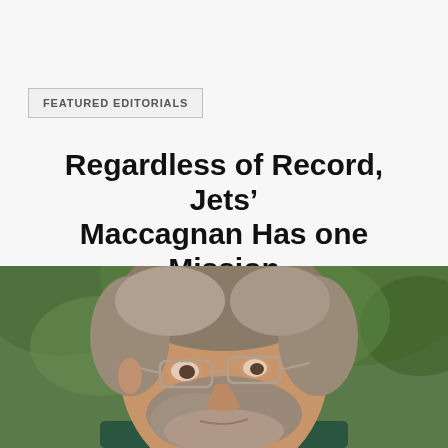FEATURED EDITORIALS
Regardless of Record, Jets’ Maccagnan Has one Mission
[Figure (photo): Close-up photo of a middle-aged man with gray-brown hair and beard wearing glasses and a dark green collared shirt, with blurred green foliage in the background.]